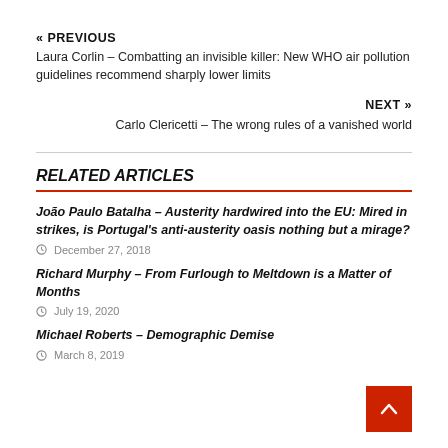« PREVIOUS
Laura Corlin – Combatting an invisible killer: New WHO air pollution guidelines recommend sharply lower limits
NEXT »
Carlo Clericetti – The wrong rules of a vanished world
RELATED ARTICLES
João Paulo Batalha – Austerity hardwired into the EU: Mired in strikes, is Portugal's anti-austerity oasis nothing but a mirage?
December 27, 2018
Richard Murphy – From Furlough to Meltdown is a Matter of Months
July 19, 2020
Michael Roberts – Demographic Demise
March 8, 2019